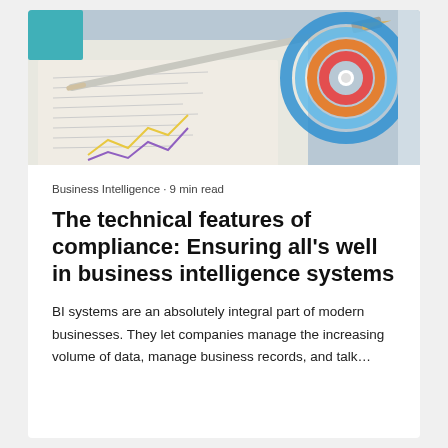[Figure (photo): Hero photo of a pen resting on financial/data documents with a circular target/bullseye chart graphic in orange, red, and blue on the right side. Papers with charts and graphs visible underneath.]
Business Intelligence · 9 min read
The technical features of compliance: Ensuring all's well in business intelligence systems
BI systems are an absolutely integral part of modern businesses. They let companies manage the increasing volume of data, manage business records, and talk…